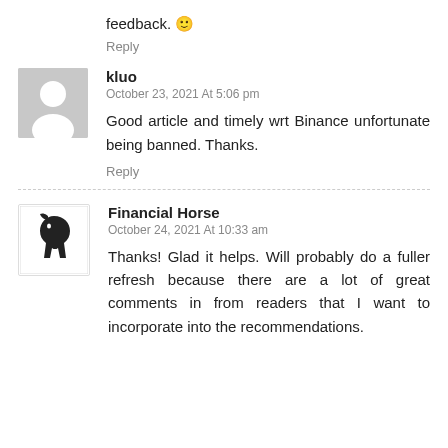feedback. 🙂
Reply
kluo
October 23, 2021 At 5:06 pm
Good article and timely wrt Binance unfortunate being banned. Thanks.
Reply
Financial Horse
October 24, 2021 At 10:33 am
Thanks! Glad it helps. Will probably do a fuller refresh because there are a lot of great comments in from readers that I want to incorporate into the recommendations.